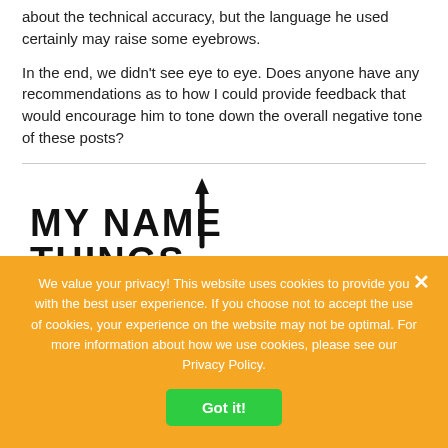about the technical accuracy, but the language he used certainly may raise some eyebrows.
In the end, we didn't see eye to eye. Does anyone have any recommendations as to how I could provide feedback that would encourage him to tone down the overall negative tone of these posts?
[Figure (logo): Logo image with handwritten-style text reading 'MY NAME THINGS' with an upward arrow]
We value your privacy! This website uses cookies to provide you with the best user experience. If you choose not to accept the use of cookies, your experience on the website may not be optimal. For more information about how we use cookies, please see our Privacy Policy.
Got it!